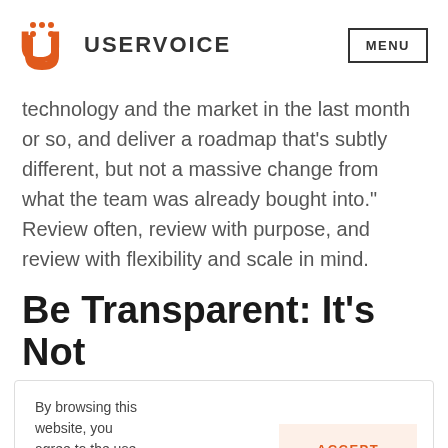USERVOICE  MENU
technology and the market in the last month or so, and deliver a roadmap that’s subtly different, but not a massive change from what the team was already bought into.”  Review often, review with purpose, and review with flexibility and scale in mind.
Be Transparent: It’s Not
By browsing this website, you agree to the use of cookies. Learn more.  ACCEPT
by browsing restrictions and questions that